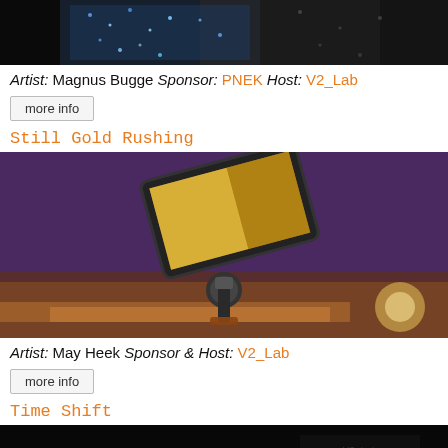[Figure (photo): Cropped bottom portion of a performer in sequined/sparkly costume on a dark stage]
Artist: Magnus Bugge Sponsor: PNEK Host: V2_Lab
more info
Still Gold Rushing
[Figure (photo): Tablet/monitor mounted on a tripod ball head against a purple and orange sunset sky background]
Artist: May Heek Sponsor & Host: V2_Lab
more info
Time Shift
[Figure (photo): Dark image with faint logo/text visible in bottom right area]